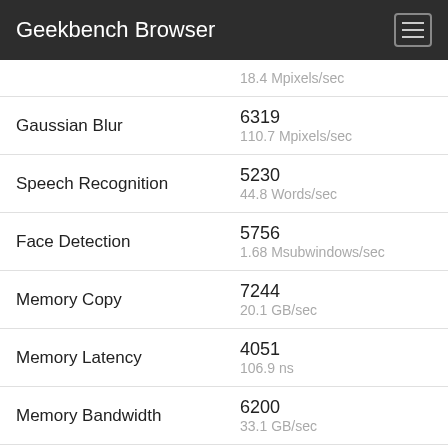Geekbench Browser
| Metric | Score |
| --- | --- |
|  | 18.4 Mpixels/sec |
| Gaussian Blur | 6319
110.7 Mpixels/sec |
| Speech Recognition | 5230
44.8 Words/sec |
| Face Detection | 5756
1.68 Msubwindows/sec |
| Memory Copy | 7244
20.1 GB/sec |
| Memory Latency | 4051
106.9 ns |
| Memory Bandwidth | 6200
33.1 GB/sec |
Multi-Core Performance
Multi-Core Score	10147